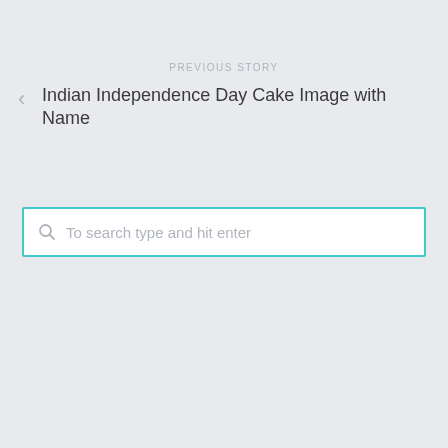PREVIOUS STORY
Indian Independence Day Cake Image with Name
[Figure (screenshot): Search input box with teal border and placeholder text 'To search type and hit enter' with a search icon on the left]